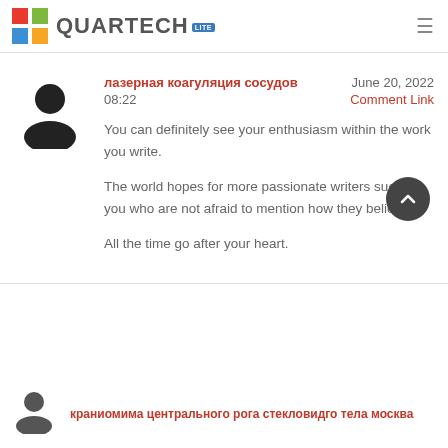QUARTECH LITE
лазерная коагуляция сосудов   June 20, 2022  08:22   Comment Link
You can definitely see your enthusiasm within the work you write.

The world hopes for more passionate writers such as you who are not afraid to mention how they believe.

All the time go after your heart.
краниомима ценгрального рога стекловидго тела москва